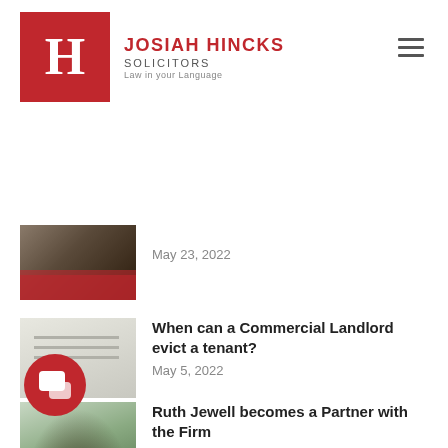[Figure (logo): Josiah Hincks Solicitors logo: red square with white H letter, with firm name and tagline 'Law in your Language']
May 23, 2022
When can a Commercial Landlord evict a tenant?
May 5, 2022
Ruth Jewell becomes a Partner with the Firm
April 1, 2022